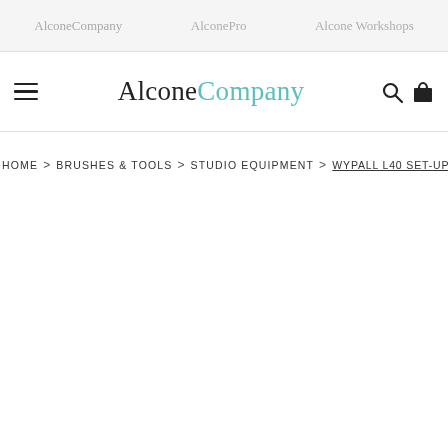AlconeCompany  AlconePro  Alcone Workshops
[Figure (logo): AlconeCompany logo with hamburger menu icon on left, search and cart icons on right]
HOME > BRUSHES & TOOLS > STUDIO EQUIPMENT > WYPALL L40 SET-UP TOWELS